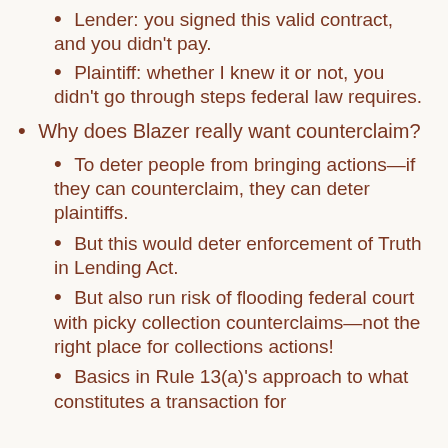Lender: you signed this valid contract, and you didn't pay.
Plaintiff: whether I knew it or not, you didn't go through steps federal law requires.
Why does Blazer really want counterclaim?
To deter people from bringing actions—if they can counterclaim, they can deter plaintiffs.
But this would deter enforcement of Truth in Lending Act.
But also run risk of flooding federal court with picky collection counterclaims—not the right place for collections actions!
Basics in Rule 13(a)'s approach to what constitutes a transaction for